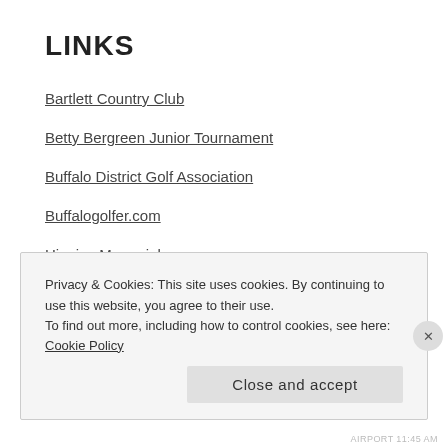LINKS
Bartlett Country Club
Betty Bergreen Junior Tournament
Buffalo District Golf Association
Buffalogolfer.com
Higgins Memorial
HomeCare & Hospice
The ReHabilitation Foundation
Privacy & Cookies: This site uses cookies. By continuing to use this website, you agree to their use.
To find out more, including how to control cookies, see here: Cookie Policy
Close and accept
AIRPORT 11:45 AM